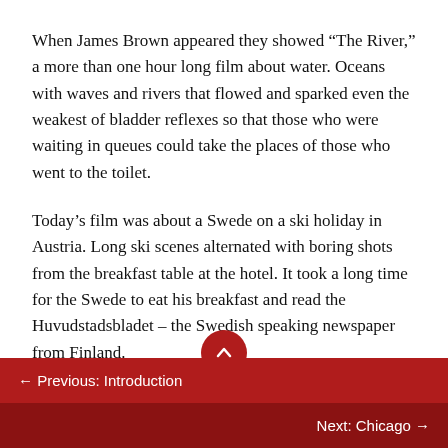When James Brown appeared they showed “The River,” a more than one hour long film about water. Oceans with waves and rivers that flowed and sparked even the weakest of bladder reflexes so that those who were waiting in queues could take the places of those who went to the toilet.
Today’s film was about a Swede on a ski holiday in Austria. Long ski scenes alternated with boring shots from the breakfast table at the hotel. It took a long time for the Swede to eat his breakfast and read the Huvudstadsbladet – the Swedish speaking newspaper from Finland.
← Previous: Introduction
Next: Chicago →